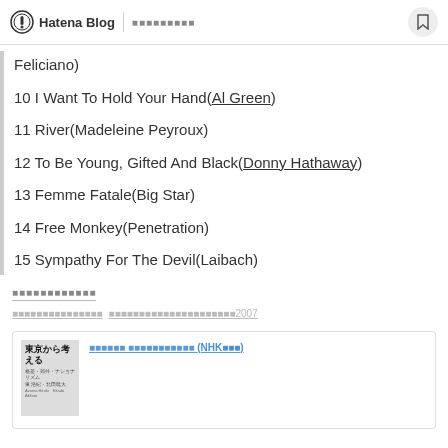Hatena Blog | ■■■■■■■■■
Feliciano)
10 I Want To Hold Your Hand(Al Green)
11 River(Madeleine Peyroux)
12 To Be Young, Gifted And Black(Donny Hathaway)
13 Femme Fatale(Big Star)
14 Free Monkey(Penetration)
15 Sympathy For The Devil(Laibach)
■■■■■■■■■■■■
■■■■■■■■■■■■■■■ ■■■■■■■■■■■■■■■■■■■■■2007
[Figure (other): Book cover for 東京から考える with Japanese subtitle and authors, alongside a blue hyperlink text referencing NHK]